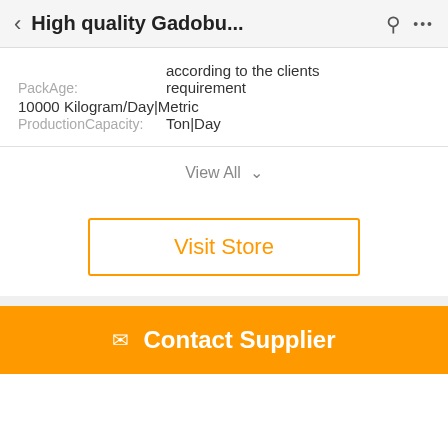High quality Gadobu...
PackAge: according to the clients requirement
ProductionCapacity: 10000 Kilogram/Day|Metric Ton|Day
View All
Visit Store
Contact Supplier